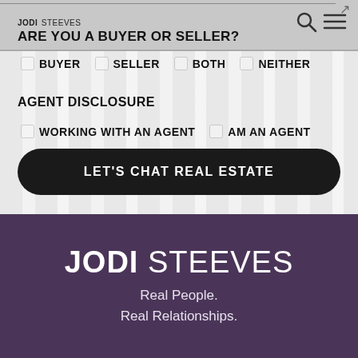JODI STEEVES
ARE YOU A BUYER OR SELLER?
BUYER
SELLER
BOTH
NEITHER
AGENT DISCLOSURE
WORKING WITH AN AGENT
AM AN AGENT
LET'S CHAT REAL ESTATE
JODI STEEVES
Real People.
Real Relationships.